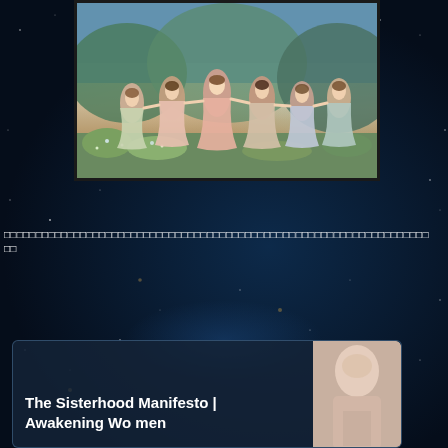[Figure (illustration): A painting of several women in flowing colorful dresses dancing in a circle outdoors, in a classical romantic art style with lush greenery background]
□□□□□□□□□□□□□□□□□□□□□□□□□□□□□□□□□□□□□□□□□□□□□□□□□□□□□□□□□□□□□ □□
[Figure (photo): A partially visible photo of a person, pinkish warm tones]
The Sisterhood Manifesto | Awakening Women